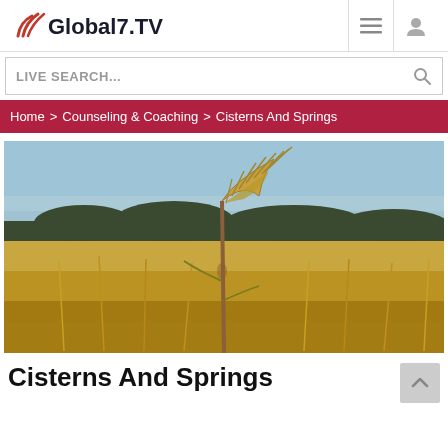Global7.TV
LIVE SEARCH...
Home > Counseling & Coaching > Cisterns And Springs
[Figure (photo): Close-up photograph of a wheat or barley stalk with a golden grain head, against a blurred background of a golden field and blue sky.]
Cisterns And Springs